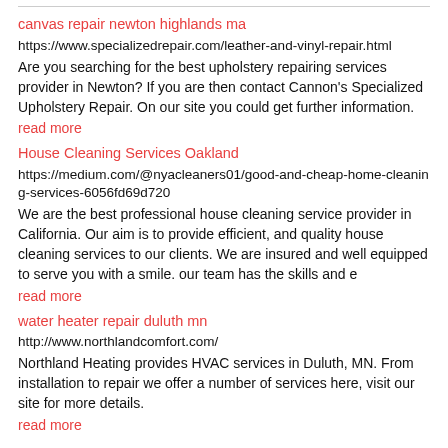canvas repair newton highlands ma
https://www.specializedrepair.com/leather-and-vinyl-repair.html
Are you searching for the best upholstery repairing services provider in Newton? If you are then contact Cannon's Specialized Upholstery Repair. On our site you could get further information.
read more
House Cleaning Services Oakland
https://medium.com/@nyacleaners01/good-and-cheap-home-cleaning-services-6056fd69d720
We are the best professional house cleaning service provider in California. Our aim is to provide efficient, and quality house cleaning services to our clients. We are insured and well equipped to serve you with a smile. our team has the skills and e
read more
water heater repair duluth mn
http://www.northlandcomfort.com/
Northland Heating provides HVAC services in Duluth, MN. From installation to repair we offer a number of services here, visit our site for more details.
read more